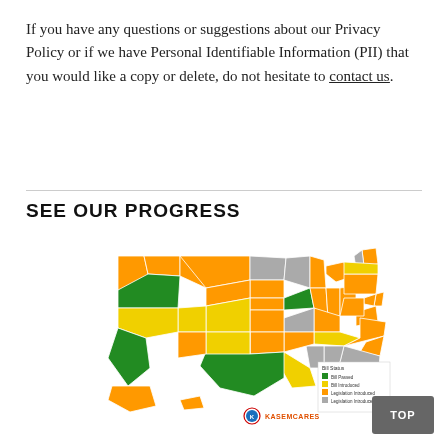If you have any questions or suggestions about our Privacy Policy or if we have Personal Identifiable Information (PII) that you would like a copy or delete, do not hesitate to contact us.
SEE OUR PROGRESS
[Figure (map): US map showing KasemCares progress by state, colored in green (passed), yellow (introduced), orange (legislation introduced), and gray (no status). KasemCares logo shown at bottom center.]
TOP